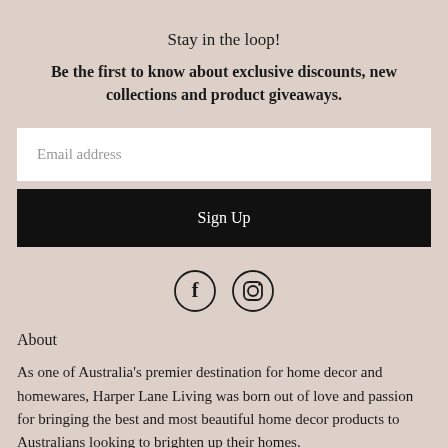Stay in the loop!
Be the first to know about exclusive discounts, new collections and product giveaways.
Email address
Sign Up
[Figure (illustration): Facebook and Instagram social media icons (circular outlines with f and camera symbols)]
About
As one of Australia's premier destination for home decor and homewares, Harper Lane Living was born out of love and passion for bringing the best and most beautiful home decor products to Australians looking to brighten up their homes.